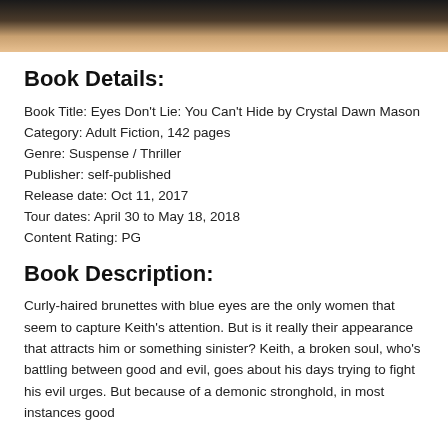[Figure (photo): Partial book cover image showing a dark background with light skin tones, appears to be a close-up of a face or body]
Book Details:
Book Title: Eyes Don't Lie: You Can't Hide by Crystal Dawn Mason
Category: Adult Fiction, 142 pages
Genre: Suspense / Thriller
Publisher: self-published
Release date: Oct 11, 2017
Tour dates: April 30 to May 18, 2018
Content Rating: PG
Book Description:
Curly-haired brunettes with blue eyes are the only women that seem to capture Keith's attention. But is it really their appearance that attracts him or something sinister? Keith, a broken soul, who's battling between good and evil, goes about his days trying to fight his evil urges. But because of a demonic stronghold, in most instances good